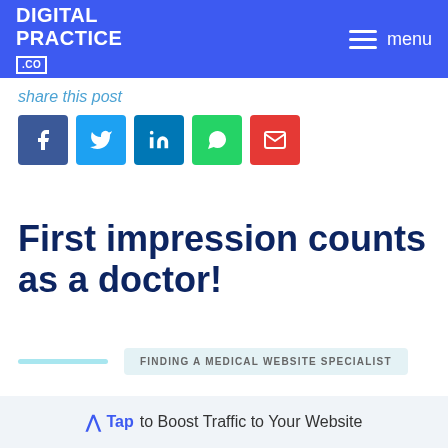DIGITAL PRACTICE .co | menu
share this post
[Figure (other): Social share buttons: Facebook, Twitter, LinkedIn, WhatsApp, Email]
First impression counts as a doctor!
FINDING A MEDICAL WEBSITE SPECIALIST
Tap to Boost Traffic to Your Website